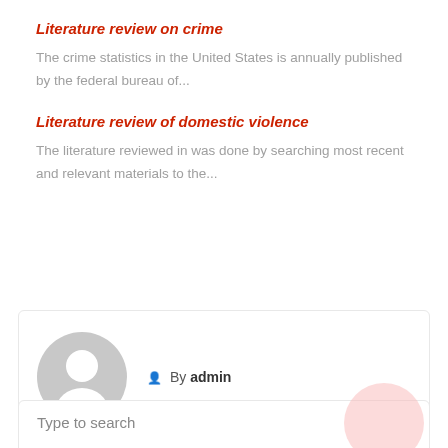Literature review on crime
The crime statistics in the United States is annually published by the federal bureau of...
Literature review of domestic violence
The literature reviewed in was done by searching most recent and relevant materials to the...
By admin
Type to search